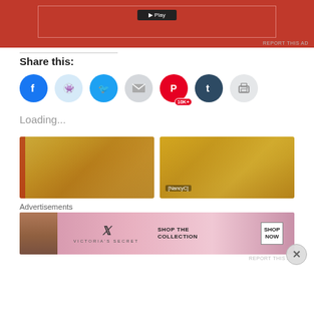[Figure (other): Red advertisement banner with dark button at top]
REPORT THIS AD
Share this:
[Figure (infographic): Social media sharing buttons: Facebook, Reddit, Twitter, Email, Pinterest (10K+), Tumblr, Print]
Loading...
[Figure (photo): Two food photos showing cheesy casserole dishes side by side]
Advertisements
[Figure (other): Victoria's Secret advertisement banner: SHOP THE COLLECTION - SHOP NOW]